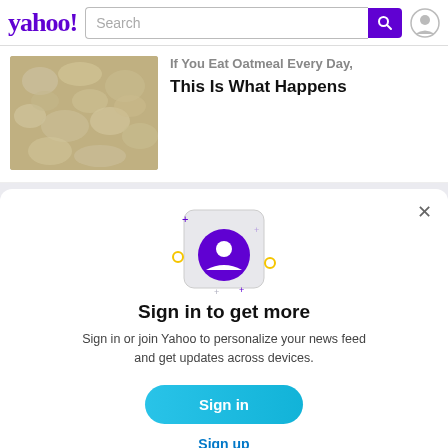yahoo! Search
[Figure (screenshot): Yahoo homepage screenshot showing search bar and user icon in header]
If You Eat Oatmeal Every Day, This Is What Happens
[Figure (illustration): Illustration of a phone with a user/account icon, surrounded by sparkle decorations in purple and yellow]
Sign in to get more
Sign in or join Yahoo to personalize your news feed and get updates across devices.
Sign in
Sign up